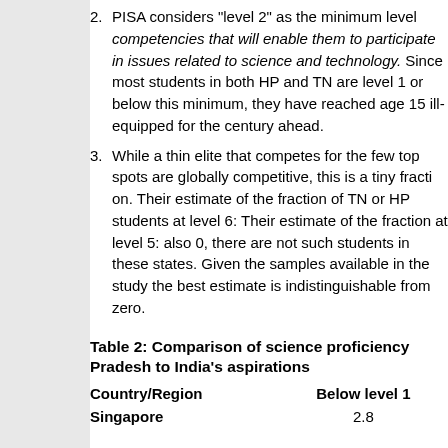2. PISA considers "level 2" as the minimum level competencies that will enable them to participate in issues related to science and technology. Since most students in both HP and TN are level 1 or below this minimum, they have reached age 15 ill-equipped for the century ahead.
3. While a thin elite that competes for the few top spots are globally competitive, this is a tiny fraction. Their estimate of the fraction of TN or HP students at level 6: Their estimate of the fraction at level 5: also 0, there are not such students in these states. Given the samples available in the study the best estimate is indistinguishable from zero.
Table 2: Comparison of science proficiency Pradesh to India's aspirations
| Country/Region | Below level 1 |
| --- | --- |
| Singapore | 2.8 |